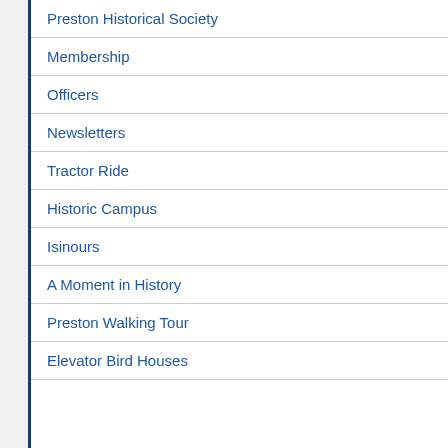Preston Historical Society
Membership
Officers
Newsletters
Tractor Ride
Historic Campus
Isinours
A Moment in History
Preston Walking Tour
Elevator Bird Houses